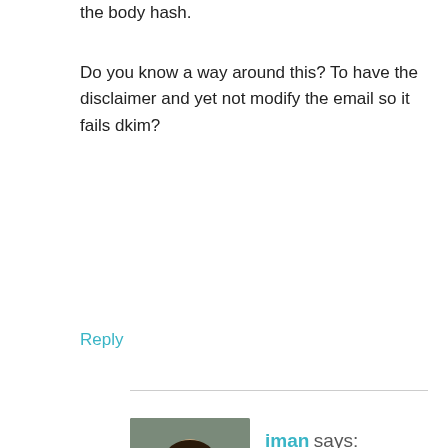the body hash.
Do you know a way around this? To have the disclaimer and yet not modify the email so it fails dkim?
Reply
iman says:
June 15, 2021 at 2:10 am
Hi Paul,
Please try bypass amavis from local network :
https://wiki.zimbra.com/wiki/How_to_bypass_local_network_with_amavis